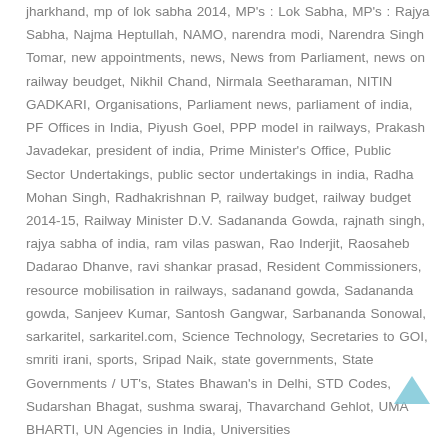jharkhand, mp of lok sabha 2014, MP's : Lok Sabha, MP's : Rajya Sabha, Najma Heptullah, NAMO, narendra modi, Narendra Singh Tomar, new appointments, news, News from Parliament, news on railway beudget, Nikhil Chand, Nirmala Seetharaman, NITIN GADKARI, Organisations, Parliament news, parliament of india, PF Offices in India, Piyush Goel, PPP model in railways, Prakash Javadekar, president of india, Prime Minister's Office, Public Sector Undertakings, public sector undertakings in india, Radha Mohan Singh, Radhakrishnan P, railway budget, railway budget 2014-15, Railway Minister D.V. Sadananda Gowda, rajnath singh, rajya sabha of india, ram vilas paswan, Rao Inderjit, Raosaheb Dadarao Dhanve, ravi shankar prasad, Resident Commissioners, resource mobilisation in railways, sadanand gowda, Sadananda gowda, Sanjeev Kumar, Santosh Gangwar, Sarbananda Sonowal, sarkaritel, sarkaritel.com, Science Technology, Secretaries to GOI, smriti irani, sports, Sripad Naik, state governments, State Governments / UT's, States Bhawan's in Delhi, STD Codes, Sudarshan Bhagat, sushma swaraj, Thavarchand Gehlot, UMA BHARTI, UN Agencies in India, Universities
[Figure (other): Back to top arrow icon (upward chevron in light blue/teal color)]